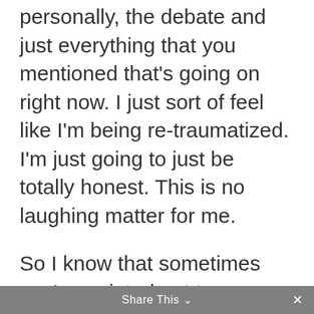personally, the debate and just everything that you mentioned that's going on right now. I just sort of feel like I'm being re-traumatized. I'm just going to just be totally honest. This is no laughing matter for me.
So I know that sometimes you've pointed out to me rightfully so that I will laugh during times that are not funny whatsoever. Yeah, this really just struck a chord with me. I take it so personally because in terms of feeling re...
Share This ∨  ×